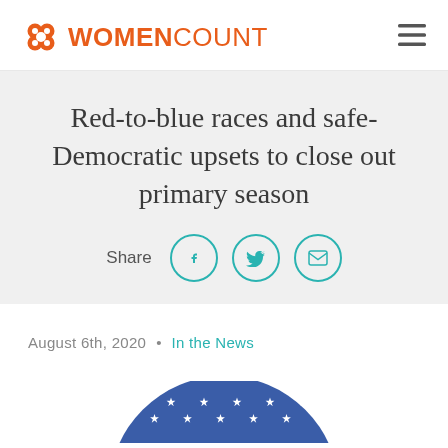WOMENCOUNT
Red-to-blue races and safe-Democratic upsets to close out primary season
Share
August 6th, 2020  •  In the News
[Figure (photo): Partial view of a circular American flag button with white stars on blue background, cropped at bottom of page]